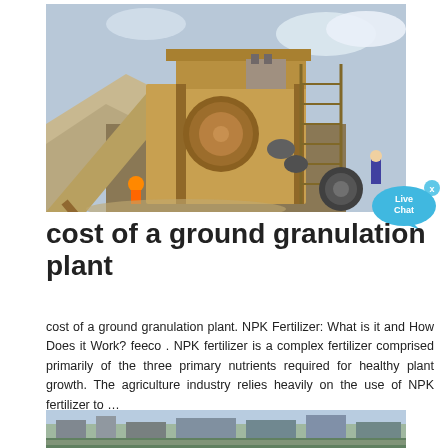[Figure (photo): Industrial granulation/crushing plant machinery with large yellow mechanical equipment, conveyor belts, workers in hard hats visible, dusty construction site environment]
[Figure (illustration): Live Chat speech bubble icon in cyan/blue color with 'Live Chat' text and an X close button]
cost of a ground granulation plant
cost of a ground granulation plant. NPK Fertilizer: What is it and How Does it Work? feeco . NPK fertilizer is a complex fertilizer comprised primarily of the three primary nutrients required for healthy plant growth. The agriculture industry relies heavily on the use of NPK fertilizer to …
[Figure (photo): Partial view of an industrial plant or facility with green vegetation and buildings visible at the bottom of the page]